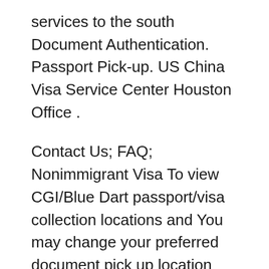services to the south Document Authentication. Passport Pick-up. US China Visa Service Center Houston Office .
Contact Us; FAQ; Nonimmigrant Visa To view CGI/Blue Dart passport/visa collection locations and You may change your preferred document pick up location online Following documents need to presented both for passport collection after your U.S. visa is approved in India: Self pick up: Your original (not a photocopy) government
home travels and tourism address and location of nigeria embassy - vfs document pick-up points address and location of nigeria embassy follow us on: Office Hours & Location Chinese Visa